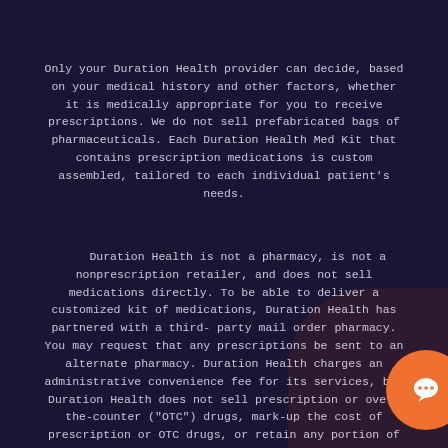Only your Duration Health provider can decide, based on your medical history and other factors, whether it is medically appropriate for you to receive prescriptions. We do not sell prefabricated bags of pharmaceuticals. Each Duration Health Med Kit that contains prescription medications is custom assembled, tailored to each individual patient's needs.
Duration Health is not a pharmacy, is not a nonprescription retailer, and does not sell medications directly. To be able to deliver a customized kit of medications, Duration Health has partnered with a third-party mail order pharmacy. You may request that any prescriptions be sent to an alternate pharmacy. Duration Health charges an administrative convenience fee for its services, but Duration Health does not sell prescription or over-the-counter ("OTC") drugs, mark-up the cost of prescription or OTC drugs, or retain any portion of the fees our affiliated pharmacy charges to you. Nor does Duration Health provide medical advice about or prescribe OTC medications. In states where Duration Health's physician consultation services are not offered, Duration Health only offers OTC products and does not provide clients with access to obtain a physician...